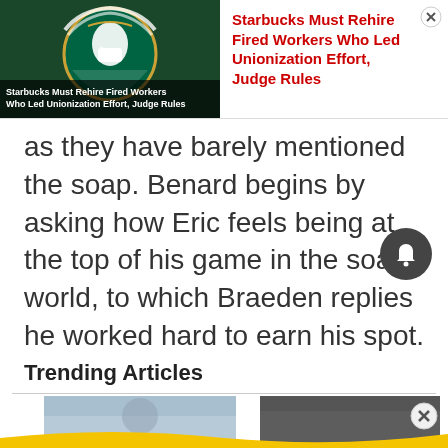[Figure (screenshot): Starbucks logo with masked mermaid figure and news overlay text reading 'Starbucks Must Rehire Fired Workers Who Led Unionization Effort, Judge Rules']
Starbucks Must Rehire Fired Workers Who Led Unionization Effort, Judge Rules
as they have barely mentioned the soap. Benard begins by asking how Eric feels being at the top of his game in the soap world, to which Braeden replies he worked hard to earn his spot.
Trending Articles